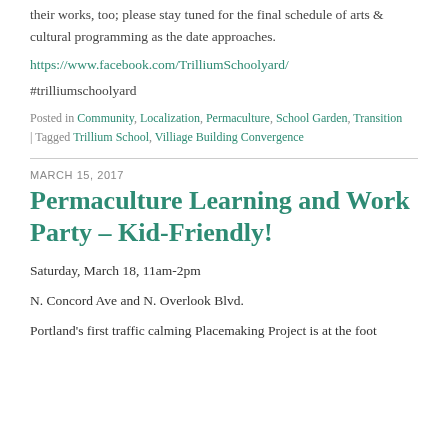their works, too; please stay tuned for the final schedule of arts & cultural programming as the date approaches.
https://www.facebook.com/TrilliumSchoolyard/
#trilliumschoolyard
Posted in Community, Localization, Permaculture, School Garden, Transition | Tagged Trillium School, Villiage Building Convergence
MARCH 15, 2017
Permaculture Learning and Work Party – Kid-Friendly!
Saturday, March 18, 11am-2pm
N. Concord Ave and N. Overlook Blvd.
Portland's first traffic calming Placemaking Project is at the foot